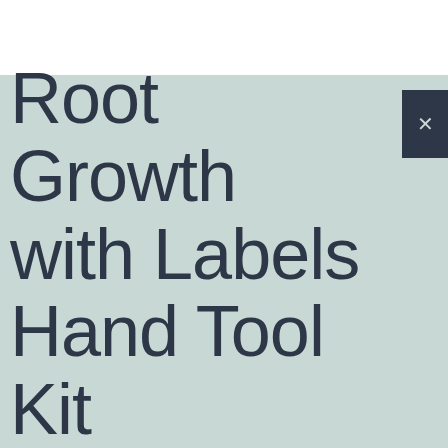Root Growth with Labels Hand Tool Kit (10 Trays, 12-Cells Per Tray) Holiday Gift